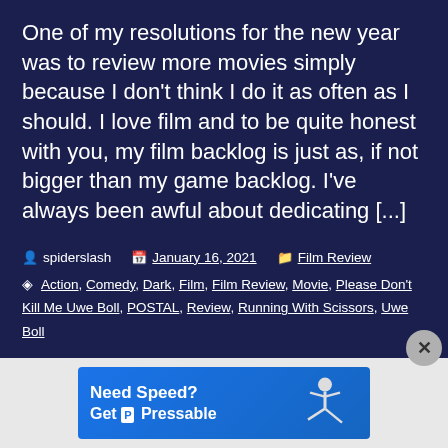One of my resolutions for the new year was to review more movies simply because I don't think I do it as often as I should. I love film and to be quite honest with you, my film backlog is just as, if not bigger than my game backlog. I've always been awful about dedicating [...]
spiderslash  January 16, 2021  Film Review
Action, Comedy, Dark, Film, Film Review, Movie, Please Don't Kill Me Uwe Boll, POSTAL, Review, Running With Scissors, Uwe Boll
[Figure (infographic): Advertisement banner: Need Speed? Get Pressable — blue background with running figure silhouette]